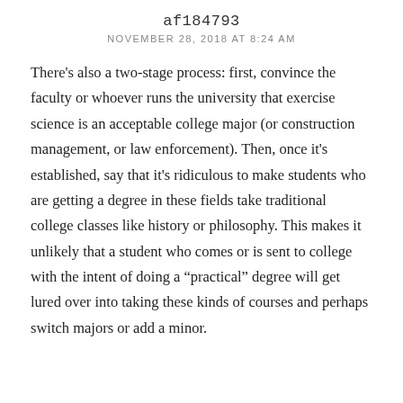af184793
NOVEMBER 28, 2018 AT 8:24 AM
There's also a two-stage process: first, convince the faculty or whoever runs the university that exercise science is an acceptable college major (or construction management, or law enforcement). Then, once it's established, say that it's ridiculous to make students who are getting a degree in these fields take traditional college classes like history or philosophy. This makes it unlikely that a student who comes or is sent to college with the intent of doing a "practical" degree will get lured over into taking these kinds of courses and perhaps switch majors or add a minor.